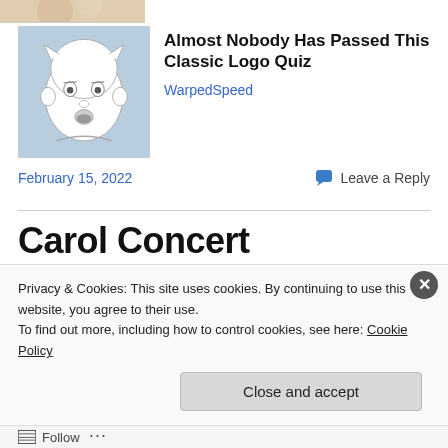[Figure (illustration): Partial thumbnail image visible at very top of page, cropped]
[Figure (illustration): Sketch-style illustration of a baby's face on a light blue background, used as article thumbnail]
Almost Nobody Has Passed This Classic Logo Quiz
WarpedSpeed
February 15, 2022
Leave a Reply
Carol Concert
Privacy & Cookies: This site uses cookies. By continuing to use this website, you agree to their use.
To find out more, including how to control cookies, see here: Cookie Policy
Close and accept
Follow